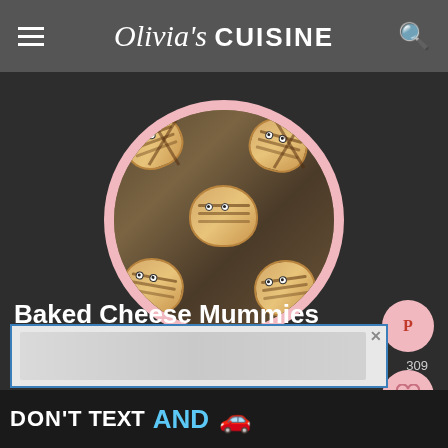Olivia's CUISINE
[Figure (photo): Circular photo of baked cheese mummy pastries with googly eyes on a dark baking tray, with a pink flower decoration overlay]
Baked Cheese Mummies
[Figure (infographic): Pink Pinterest share button, heart/save button with count 309, and search button on right side]
[Figure (screenshot): Ad overlay box with blue border partially visible]
[Figure (infographic): Bottom ad banner: DON'T TEXT AND with a red car emoji, ad badge and NHTSA logo]